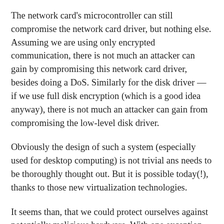The network card's microcontroller can still compromise the network card driver, but nothing else. Assuming we are using only encrypted communication, there is not much an attacker can gain by compromising this network card driver, besides doing a DoS. Similarly for the disk driver — if we use full disk encryption (which is a good idea anyway), there is not much an attacker can gain from compromising the low-level disk driver.
Obviously the design of such a system (especially used for desktop computing) is not trivial ans needs to be thoroughly thought out. But it is possible today(!), thanks to those new virtualization technologies.
It seems than, that we could protect ourselves against potentially malicious hardware. With one exception however... we still need to trust the CPU and also the memory controller (AKA northbridge AKA chipset), that implements that IOMMU.
On AMD systems, the memory controller has long been integrated into the processor. Also Intel's recent Nehalem...